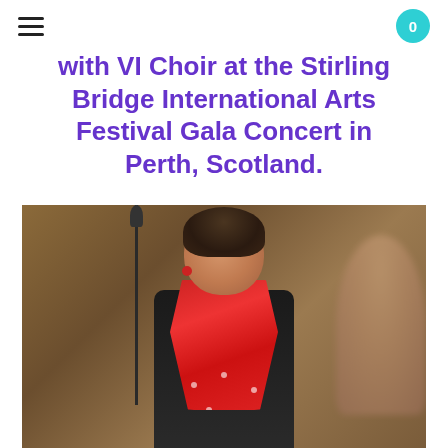menu | 0
with VI Choir at the Stirling Bridge International Arts Festival Gala Concert in Perth, Scotland.
[Figure (photo): A conductor or choir director wearing a black top and a red scarf, singing or directing, photographed at what appears to be a concert rehearsal or performance. A blurred woman is visible in the background on the right.]